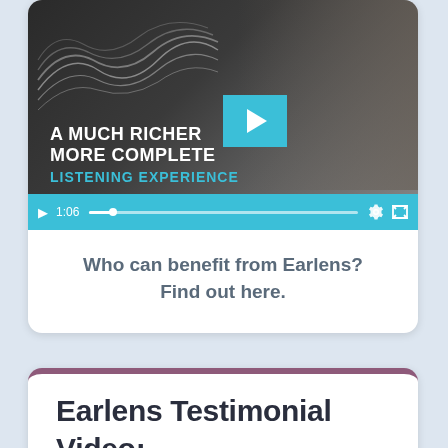[Figure (screenshot): Video player screenshot showing a woman with gray hair, wind-blown, with text overlay 'A MUCH RICHER MORE COMPLETE LISTENING EXPERIENCE' in white and teal, a teal play button, and a teal progress bar at the bottom showing 1:06 timestamp.]
Who can benefit from Earlens? Find out here.
Earlens Testimonial Video: